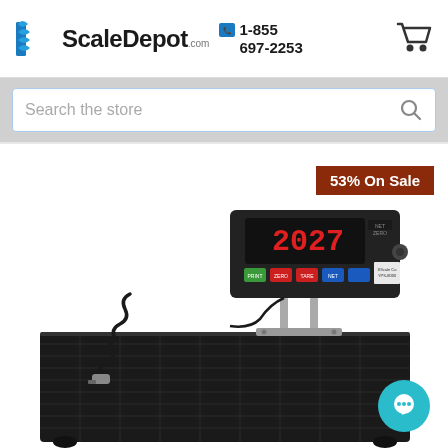ScaleDepot.com 1-855 697-2253
Search the store
[Figure (photo): Industrial floor scale with digital weight indicator display showing '2027', control buttons, a cable/load cell connector, and a large black textured floor platform. A teal chat bubble icon in the bottom right corner. A red-brown badge reads '53% On Sale' in the top right.]